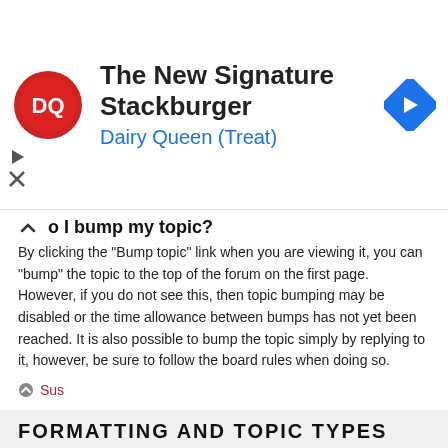[Figure (other): Dairy Queen advertisement banner with DQ logo, text 'The New Signature Stackburger' and 'Dairy Queen (Treat)', and a blue diamond navigation arrow icon]
How do I bump my topic?
By clicking the "Bump topic" link when you are viewing it, you can "bump" the topic to the top of the forum on the first page. However, if you do not see this, then topic bumping may be disabled or the time allowance between bumps has not yet been reached. It is also possible to bump the topic simply by replying to it, however, be sure to follow the board rules when doing so.
Sus
FORMATTING AND TOPIC TYPES
What is BBCode?
BBCode is a special implementation of HTML, offering great formatting control on particular objects in a post. The use of BBCode is granted by the administrator, but it can also be disabled on a per post basis from the posting form. BBCode itself is similar in style to HTML, but tags are enclosed in square